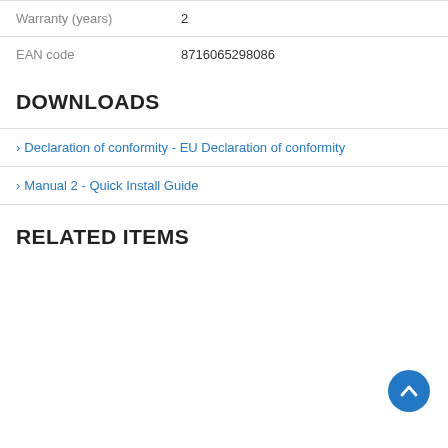| Warranty (years) | 2 |
| EAN code | 8716065298086 |
DOWNLOADS
› Declaration of conformity - EU Declaration of conformity
› Manual 2 - Quick Install Guide
RELATED ITEMS
[Figure (illustration): Back to top button — circular blue button with white upward chevron arrow]